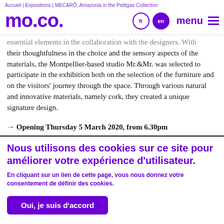Accueil | Expositions | MECARÔ, Amazonia in the Petitgas Collection
MO.CO.
essential elements in the collaboration with the designers. With their thoughtfulness in the choice and the sensory aspects of the materials, the Montpellier-based studio Mr.&Mr. was selected to participate in the exhibition both on the selection of the furniture and on the visitors' journey through the space. Through various natural and innovative materials, namely cork, they created a unique signature design.
→ Opening Thursday 5 March 2020, from 6.30pm
Nous utilisons des cookies sur ce site pour améliorer votre expérience d'utilisateur.
En cliquant sur un lien de cette page, vous nous donnez votre consentement de définir des cookies.
Oui, je suis d'accord